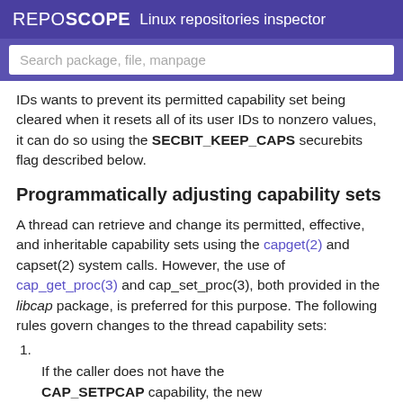REPOSCOPE  Linux repositories inspector
Search package, file, manpage
IDs wants to prevent its permitted capability set being cleared when it resets all of its user IDs to nonzero values, it can do so using the SECBIT_KEEP_CAPS securebits flag described below.
Programmatically adjusting capability sets
A thread can retrieve and change its permitted, effective, and inheritable capability sets using the capget(2) and capset(2) system calls. However, the use of cap_get_proc(3) and cap_set_proc(3), both provided in the libcap package, is preferred for this purpose. The following rules govern changes to the thread capability sets:
1.
If the caller does not have the CAP_SETPCAP capability, the new inheritable set must be a subset of the combination of the existing inheritable and permitted sets.
2.
(Since Linux 2.6.25) The new inheritable set must be a